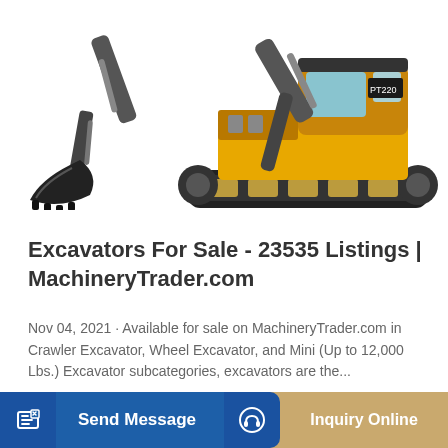[Figure (photo): Photo of a yellow crawler excavator with bucket arm extended on the left and full machine view on the right, white background]
Excavators For Sale - 23535 Listings | MachineryTrader.com
Nov 04, 2021 · Available for sale on MachineryTrader.com in Crawler Excavator, Wheel Excavator, and Mini (Up to 12,000 Lbs.) Excavator subcategories, excavators are the...
Learn More
Send Message
Inquiry Online